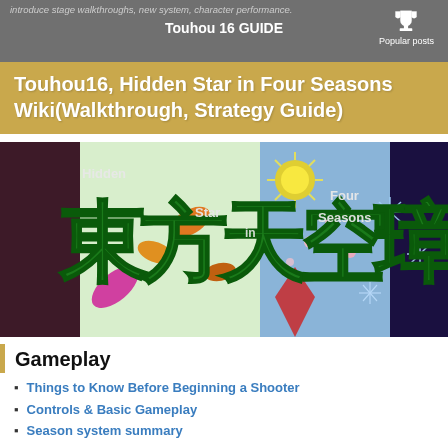introduce stage walkthroughs, new system, character performance.
Touhou 16 GUIDE
Touhou16, Hidden Star in Four Seasons Wiki(Walkthrough, Strategy Guide)
[Figure (illustration): Touhou 16 Hidden Star in Four Seasons game title banner with Japanese kanji characters 東方天空璋 and English text 'Hidden Star in Four Seasons', featuring autumn leaves, snowflakes, cherry blossoms and seasonal imagery on colorful background]
Gameplay
Things to Know Before Beginning a Shooter
Controls & Basic Gameplay
Season system summary
item List